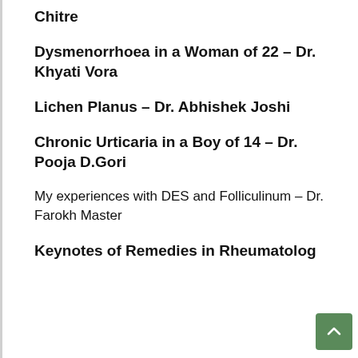Chitre
Dysmenorrhoea in a Woman of 22 – Dr. Khyati Vora
Lichen Planus  – Dr. Abhishek Joshi
Chronic Urticaria in a Boy of 14  – Dr. Pooja D.Gori
My experiences with DES and Folliculinum – Dr. Farokh Master
Keynotes of Remedies in Rheumatolog